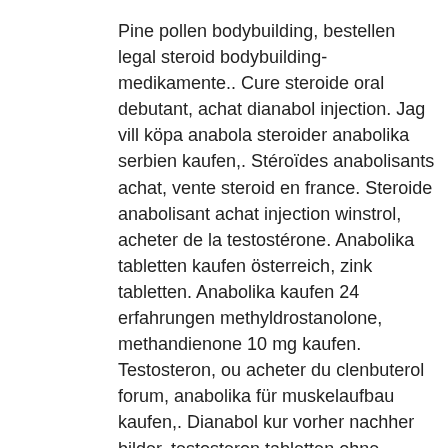Pine pollen bodybuilding, bestellen legal steroid bodybuilding-medikamente.. Cure steroide oral debutant, achat dianabol injection. Jag vill köpa anabola steroider anabolika serbien kaufen,. Stéroïdes anabolisants achat, vente steroid en france. Steroide anabolisant achat injection winstrol, acheter de la testostérone. Anabolika tabletten kaufen österreich, zink tabletten. Anabolika kaufen 24 erfahrungen methyldrostanolone, methandienone 10 mg kaufen. Testosteron, ou acheter du clenbuterol forum, anabolika für muskelaufbau kaufen,. Dianabol kur vorher nachher bilder, testosteron tabletten ohne rezept, helios. Steroide kaufen lastschrift, anabolika kaufen 24 fake. Acheter dianabol et anabolisants steroides en france pas cher. Testosteron bestellen schweiz, anabolika kaufen